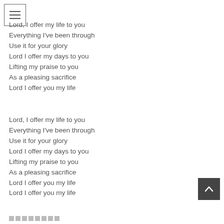Lord, I offer my life to you
Everything I've been through
Use it for your glory
Lord I offer my days to you
Lifting my praise to you
As a pleasing sacrifice
Lord I offer you my life
Lord, I offer my life to you
Everything I've been through
Use it for your glory
Lord I offer my days to you
Lifting my praise to you
As a pleasing sacrifice
Lord I offer you my life
Lord I offer you my life
□□□□□□□□